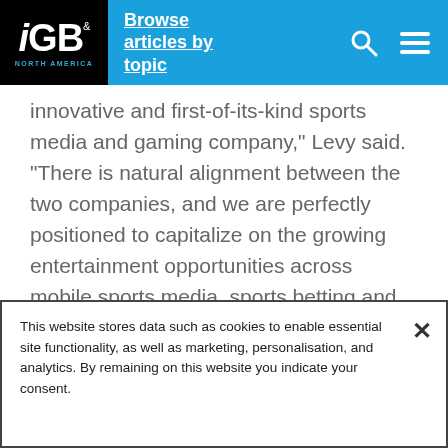iGB North America — Browse articles by topic
innovative and first-of-its-kind sports media and gaming company,” Levy said. “There is natural alignment between the two companies, and we are perfectly positioned to capitalize on the growing entertainment opportunities across mobile sports media, sports betting and online casino.
This website stores data such as cookies to enable essential site functionality, as well as marketing, personalisation, and analytics. By remaining on this website you indicate your consent.